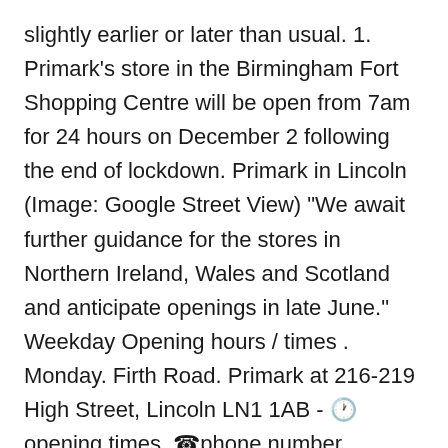slightly earlier or later than usual. 1. Primark's store in the Birmingham Fort Shopping Centre will be open from 7am for 24 hours on December 2 following the end of lockdown. Primark in Lincoln (Image: Google Street View) "We await further guidance for the stores in Northern Ireland, Wales and Scotland and anticipate openings in late June." Weekday Opening hours / times . Monday. Firth Road. Primark at 216-219 High Street, Lincoln LN1 1AB - 🕐opening times, ☎phone number, customer ratings, reviews, address, map and directions. Primark is located at 216-219 High Street, Lincoln, Lincolnshire. Wickes Opening times. The 24 hour opening times are for one day only. Opening times of stores Primark in UK. Careful, the-shops.co.uk is a participative site, where anyone can indicate opening hours. Boxing Day: Times will vary across many of the stores in the UK with some opening